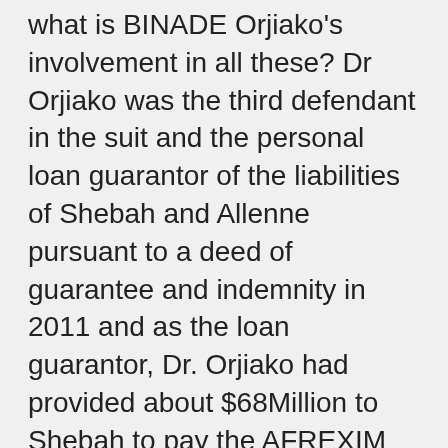what is BINADE Orjiako's involvement in all these? Dr Orjiako was the third defendant in the suit and the personal loan guarantor of the liabilities of Shebah and Allenne pursuant to a deed of guarantee and indemnity in 2011 and as the loan guarantor, Dr. Orjiako had provided about $68Million to Shebah to pay the AFREXIM consortium geared towards the repayment efforts. And to be a guarantor to such loan facility speaks volume of the kind of man Dr. Orjiako is in the Society. Dr. Orjiako Who co-founded Seplat in 2009 has developed extensive experience in the Nigerian oil and gas sector, having established and managed various companies in the upstream, downstream, and oil services sectors over the years is a respected entrepreneur and has received numerous awards and recognitions for his service to humanity and his